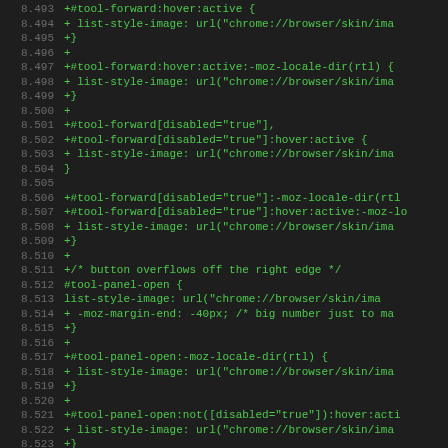[Figure (screenshot): Code diff view showing CSS lines 8.493–8.524 with green added lines in a dark editor theme. Lines include CSS selectors and properties for tool-forward and tool-panel-open browser chrome elements.]